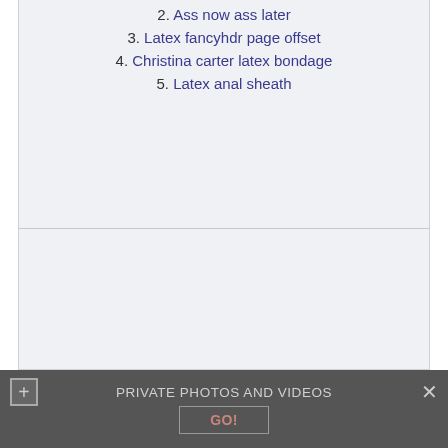2. Ass now ass later
3. Latex fancyhdr page offset
4. Christina carter latex bondage
5. Latex anal sheath
PRIVATE PHOTOS AND VIDEOS  GO!